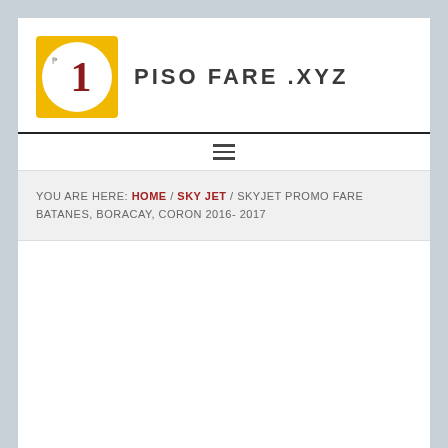[Figure (logo): Piso Fare XYZ logo: yellow square with white circle containing peso symbol and number 1 in dark red, beside text PISO FARE .XYZ in bold dark gray]
PISO FARE .XYZ
YOU ARE HERE: HOME / SKY JET / SKYJET PROMO FARE BATANES, BORACAY, CORON 2016- 2017